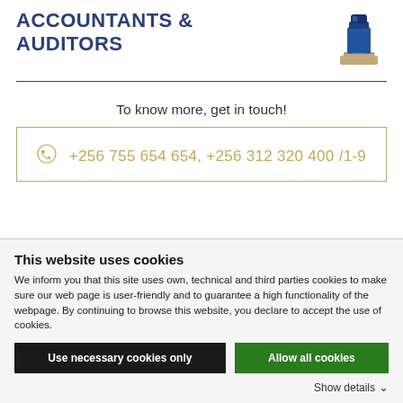ACCOUNTANTS & AUDITORS
[Figure (photo): Small illustration of an ink pot or trophy with blue top on a light background]
To know more, get in touch!
+256 755 654 654, +256 312 320 400 /1-9
This website uses cookies
We inform you that this site uses own, technical and third parties cookies to make sure our web page is user-friendly and to guarantee a high functionality of the webpage. By continuing to browse this website, you declare to accept the use of cookies.
Use necessary cookies only
Allow all cookies
Show details